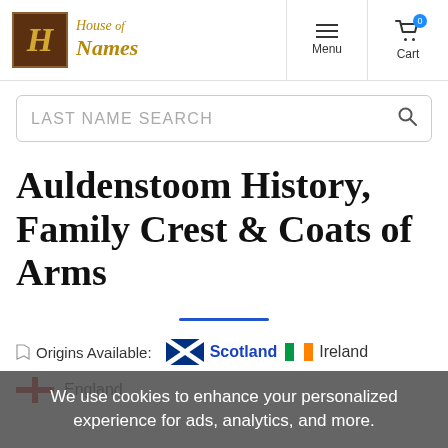House of Names
LAST NAME SEARCH
Auldenstoom History, Family Crest & Coats of Arms
Origins Available: Scotland Ireland England
We use cookies to enhance your personalized experience for ads, analytics, and more.